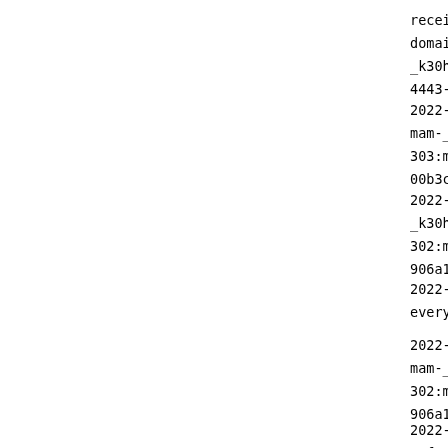received [m
domain.com/
_k30h230550
4443-45f3-8
2022-02-07
mam-_ufcyg4
303:mam-_k3
00b3c37f-44
2022-02-07
_k30h230550
302:mam-_uf
906a1d6c-4b
2022-02-07
everything.
2022-02-07
mam-_k30h23
302:mam-_uf
906a1d6c-4b
2022-02-07
_ufcyg40551
303:mam-_k3